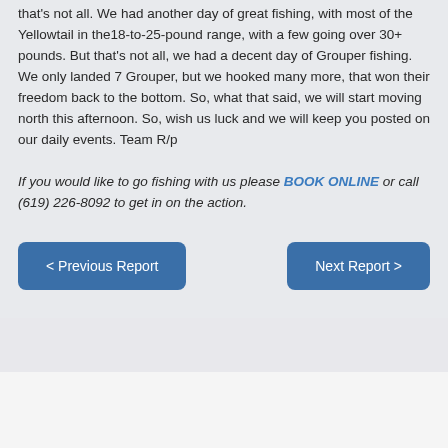that's not all. We had another day of great fishing, with most of the Yellowtail in the18-to-25-pound range, with a few going over 30+ pounds. But that's not all, we had a decent day of Grouper fishing. We only landed 7 Grouper, but we hooked many more, that won their freedom back to the bottom. So, what that said, we will start moving north this afternoon. So, wish us luck and we will keep you posted on our daily events. Team R/p
If you would like to go fishing with us please BOOK ONLINE or call (619) 226-8092 to get in on the action.
< Previous Report
Next Report >